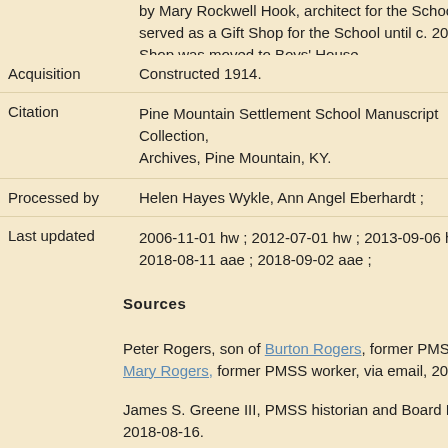by Mary Rockwell Hook, architect for the School. The sm served as a Gift Shop for the School until c. 2016, when the Shop was moved to Boys' House.
| Field | Value |
| --- | --- |
| Acquisition | Constructed 1914. |
| Citation | Pine Mountain Settlement School Manuscript Collection, Archives, Pine Mountain, KY. |
| Processed by | Helen Hayes Wykle, Ann Angel Eberhardt ; |
| Last updated | 2006-11-01 hw ; 2012-07-01 hw ; 2013-09-06 hw ; 2014-05- 2018-08-11 aae ; 2018-09-02 aae ; |
Sources
Peter Rogers, son of Burton Rogers, former PMSS director, Mary Rogers, former PMSS worker, via email, 2018-08-17
James S. Greene III, PMSS historian and Board Member, via email, 2018-08-16.